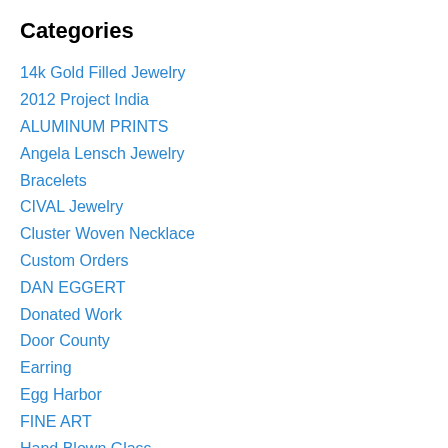Categories
14k Gold Filled Jewelry
2012 Project India
ALUMINUM PRINTS
Angela Lensch Jewelry
Bracelets
CIVAL Jewelry
Cluster Woven Necklace
Custom Orders
DAN EGGERT
Donated Work
Door County
Earring
Egg Harbor
FINE ART
Hand Blown Glass
JOSEPH KAFTAN
JULIE RUTHERFORD
Marlo Cronquist